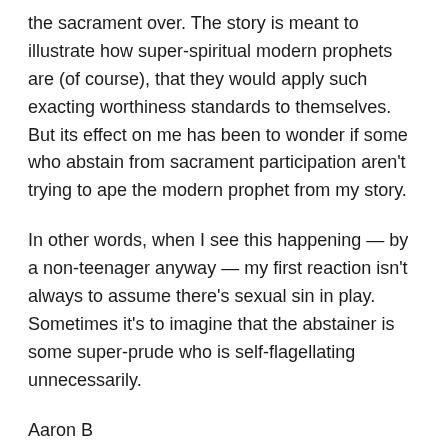the sacrament over. The story is meant to illustrate how super-spiritual modern prophets are (of course), that they would apply such exacting worthiness standards to themselves. But its effect on me has been to wonder if some who abstain from sacrament participation aren't trying to ape the modern prophet from my story.
In other words, when I see this happening — by a non-teenager anyway — my first reaction isn't always to assume there's sexual sin in play. Sometimes it's to imagine that the abstainer is some super-prude who is self-flagellating unnecessarily.
Aaron B